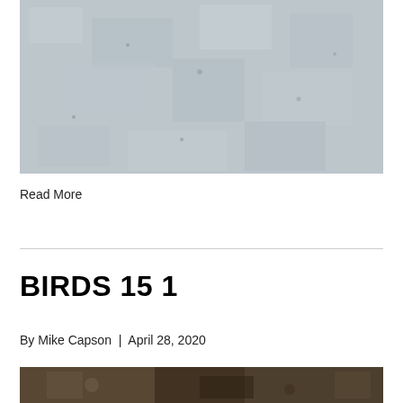[Figure (photo): Close-up photo of a rough concrete or stone surface with mottled grey texture]
Read More
BIRDS 15 1
By Mike Capson  |  April 28, 2020
[Figure (photo): Partial photo of ground-level scene with rocks, dirt and organic matter, partially cut off at bottom of page]